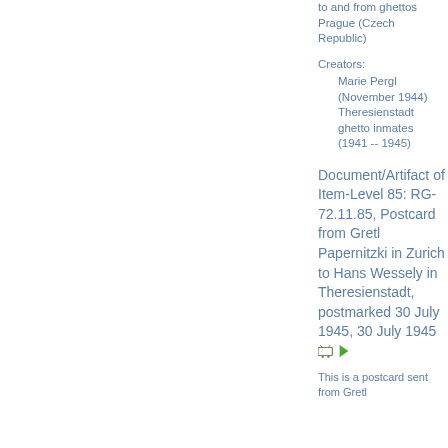to and from ghettos Prague (Czech Republic)
Creators:
Marie Pergl (November 1944) Theresienstadt ghetto inmates (1941 -- 1945)
Document/Artifact of Item-Level 85: RG-72.11.85, Postcard from Gretl Papernitzki in Zurich to Hans Wessely in Theresienstadt, postmarked 30 July 1945, 30 July 1945
This is a postcard sent from Gretl